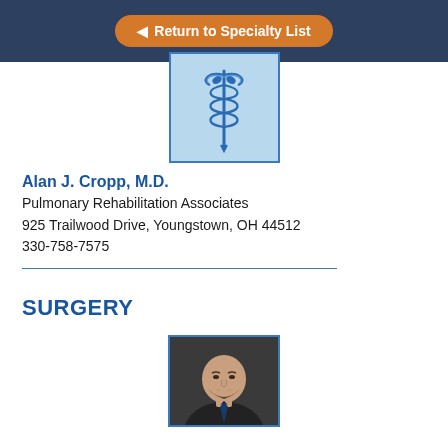Return to Specialty List
[Figure (illustration): Medical caduceus symbol illustration in blue tones on light blue background]
Alan J. Cropp, M.D.
Pulmonary Rehabilitation Associates
925 Trailwood Drive, Youngstown, OH 44512
330-758-7575
SURGERY
[Figure (photo): Professional headshot photo of a bald man with beard wearing a dark suit]